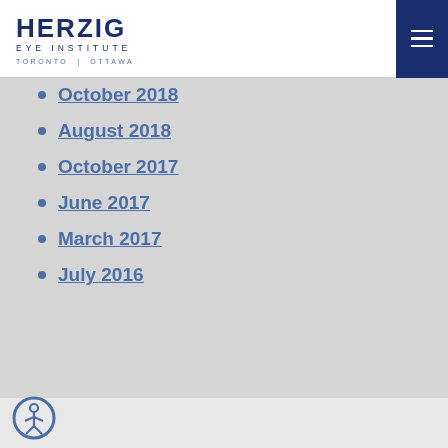HERZIG EYE INSTITUTE TORONTO | OTTAWA
October 2018
August 2018
October 2017
June 2017
March 2017
July 2016